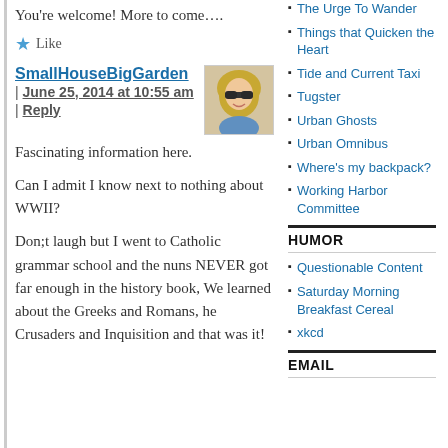You're welcome! More to come….
Like
SmallHouseBigGarden | June 25, 2014 at 10:55 am | Reply
Fascinating information here.
Can I admit I know next to nothing about WWII?
Don;t laugh but I went to Catholic grammar school and the nuns NEVER got far enough in the history book, We learned about the Greeks and Romans, he Crusaders and Inquisition and that was it!
The Urge To Wander
Things that Quicken the Heart
Tide and Current Taxi
Tugster
Urban Ghosts
Urban Omnibus
Where's my backpack?
Working Harbor Committee
HUMOR
Questionable Content
Saturday Morning Breakfast Cereal
xkcd
EMAIL